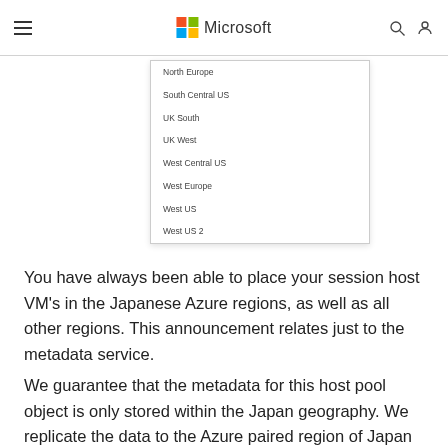Microsoft
North Europe
South Central US
UK South
UK West
West Central US
West Europe
West US
West US 2
You have always been able to place your session host VM’s in the Japanese Azure regions, as well as all other regions. This announcement relates just to the metadata service.
We guarantee that the metadata for this host pool object is only stored within the Japan geography. We replicate the data to the Azure paired region of Japan West for disaster recovery purposes.